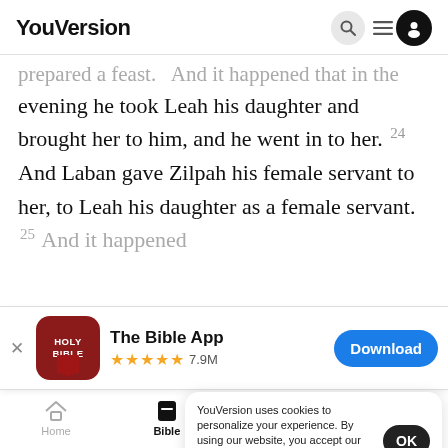YouVersion
prepared a feast. And it happened that in the evening he took Leah his daughter and brought her to him, and he went in to her. 24 And Laban gave Zilpah his female servant to her, to Leah his daughter as a female servant. 25 And it happened
[Figure (screenshot): App download banner for The Bible App showing icon, 5-star rating with 7.9M reviews, and Download button]
YouVersion uses cookies to personalize your experience. By using our website, you accept our use of cookies as described in our Privacy Policy.
Did I no... you de...
Home  Bible  Plans  Videos